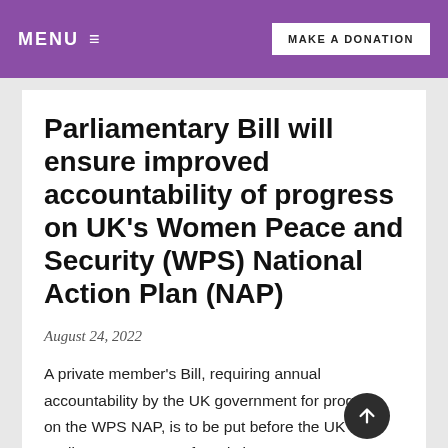MENU  ≡        MAKE A DONATION
Parliamentary Bill will ensure improved accountability of progress on UK's Women Peace and Security (WPS) National Action Plan (NAP)
August 24, 2022
A private member's Bill, requiring annual accountability by the UK government for progress on the WPS NAP, is to be put before the UK Parliament's House of Lords in